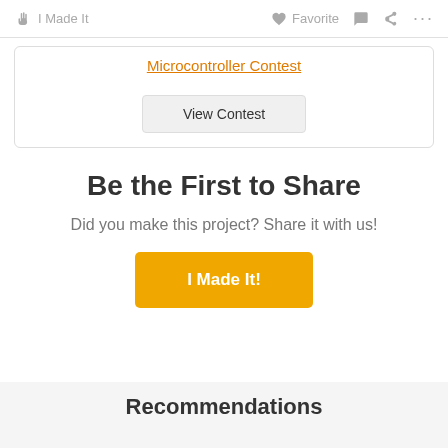I Made It   Favorite   ...
Microcontroller Contest
View Contest
Be the First to Share
Did you make this project? Share it with us!
I Made It!
Recommendations